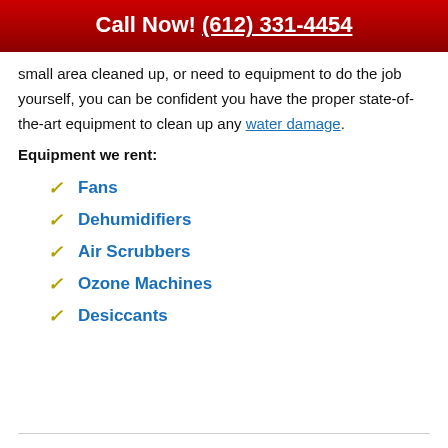Call Now! (612) 331-4454
small area cleaned up, or need to equipment to do the job yourself, you can be confident you have the proper state-of-the-art equipment to clean up any water damage.
Equipment we rent:
Fans
Dehumidifiers
Air Scrubbers
Ozone Machines
Desiccants